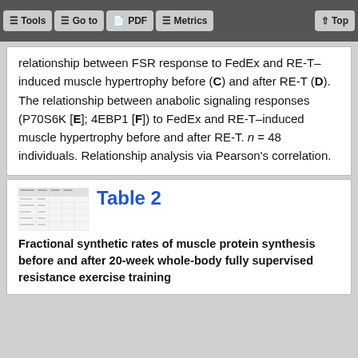Tools  Go to  PDF  Metrics  Top
relationship between FSR response to FedEx and RE-T–induced muscle hypertrophy before (C) and after RE-T (D). The relationship between anabolic signaling responses (P70S6K [E]; 4EBP1 [F]) to FedEx and RE-T–induced muscle hypertrophy before and after RE-T. n = 48 individuals. Relationship analysis via Pearson's correlation.
Table 2 Fractional synthetic rates of muscle protein synthesis before and after 20-week whole-body fully supervised resistance exercise training